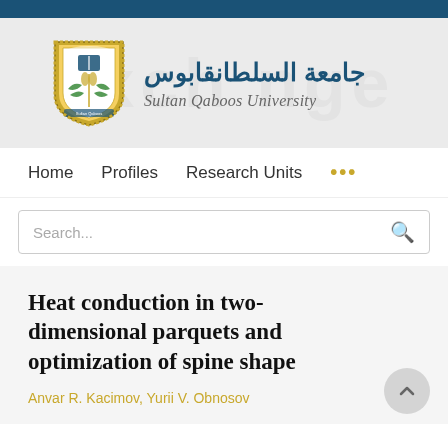[Figure (logo): Sultan Qaboos University header with Arabic name جامعة السلطان قابوس, English name Sultan Qaboos University, and university shield/crest logo]
Home   Profiles   Research Units   ...
Search...
Heat conduction in two-dimensional parquets and optimization of spine shape
Anvar R. Kacimov, Yurii V. Obnosov